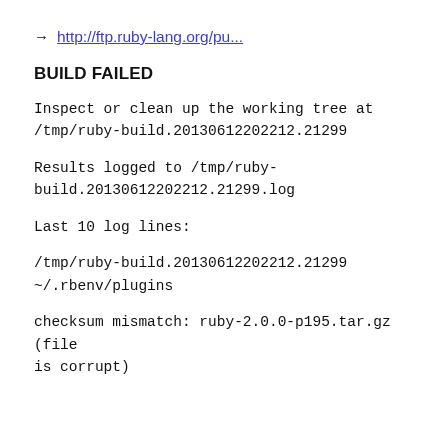→ http://ftp.ruby-lang.org/pu...
BUILD FAILED
Inspect or clean up the working tree at /tmp/ruby-build.20130612202212.21299
Results logged to /tmp/ruby-build.20130612202212.21299.log
Last 10 log lines:
/tmp/ruby-build.20130612202212.21299 ~/.rbenv/plugins
checksum mismatch: ruby-2.0.0-p195.tar.gz (file is corrupt)